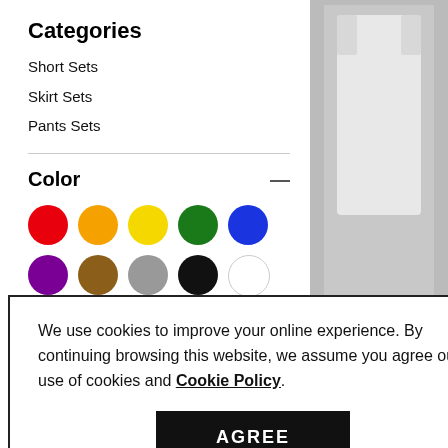Categories
Short Sets
Skirt Sets
Pants Sets
Color
[Figure (other): Color swatches: red, orange, yellow, green, blue, purple, brown, gray, black, white, pink]
Size
S
M
L
[Figure (photo): Product photo of a white tank top on grey background]
2pcs Marled Tank Top A
US$26.95
We use cookies to improve your online experience. By continuing browsing this website, we assume you agree our use of cookies and Cookie Policy.
AGREE